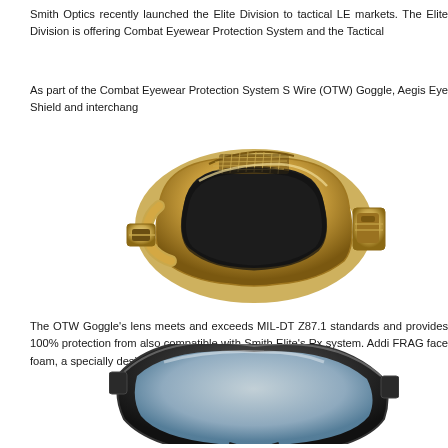Smith Optics recently launched the Elite Division to tactical LE markets. The Elite Division is offering Combat Eyewear Protection System and the Tactical
As part of the Combat Eyewear Protection System S Wire (OTW) Goggle, Aegis Eye Shield and interchang
[Figure (photo): Smith Optics OTW Goggle shown from front/side angle, gold/tan colored frame with dark lens cutout and foam padding visible, with strap buckle hardware on side]
The OTW Goggle’s lens meets and exceeds MIL-DT Z87.1 standards and provides 100% protection from also compatible with Smith Elite’s Rx system. Addi FRAG face foam, a specially designed flame resi foam.
[Figure (photo): Smith Optics goggle shown from front, black frame with clear/light lens, partial view cropped at bottom of page]